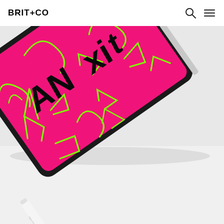BRIT+CO
[Figure (photo): A tablet (iPad) angled diagonally on a white surface, displaying a bright pink/magenta screen with green neon scribbles and the text 'ANxiE' written in black marker-style lettering. An Apple Pencil stylus lies in front of the tablet on the white surface.]